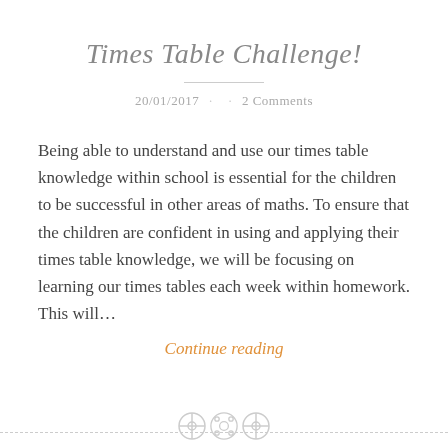Times Table Challenge!
20/01/2017 · · 2 Comments
Being able to understand and use our times table knowledge within school is essential for the children to be successful in other areas of maths. To ensure that the children are confident in using and applying their times table knowledge, we will be focusing on learning our times tables each week within homework. This will…
Continue reading